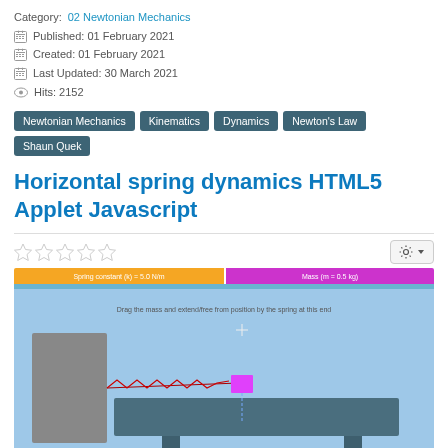Category: 02 Newtonian Mechanics
Published: 01 February 2021
Created: 01 February 2021
Last Updated: 30 March 2021
Hits: 2152
Newtonian Mechanics
Kinematics
Dynamics
Newton's Law
Shaun Quek
Horizontal spring dynamics HTML5 Applet Javascript
[Figure (screenshot): Screenshot of a horizontal spring dynamics HTML5 simulation showing a spring attached to a wall with a mass on a table, with orange and magenta slider bars at the top for spring constant and mass controls.]